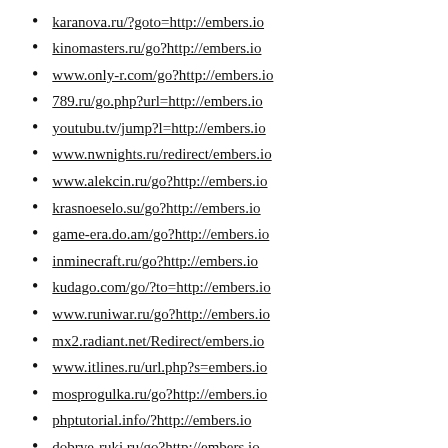karanova.ru/?goto=http://embers.io
kinomasters.ru/go?http://embers.io
www.only-r.com/go?http://embers.io
789.ru/go.php?url=http://embers.io
youtubu.tv/jump?l=http://embers.io
www.nwnights.ru/redirect/embers.io
www.alekcin.ru/go?http://embers.io
krasnoeselo.su/go?http://embers.io
game-era.do.am/go?http://embers.io
inminecraft.ru/go?http://embers.io
kudago.com/go/?to=http://embers.io
www.runiwar.ru/go?http://embers.io
mx2.radiant.net/Redirect/embers.io
www.itlines.ru/url.php?s=embers.io
mosprogulka.ru/go?http://embers.io
phptutorial.info/?http://embers.io
dobrye-ruki.ru/go?http://embers.io
astral-pro.com/go?http://embers.io
www.fajiao.org/go.php?go=embers.io